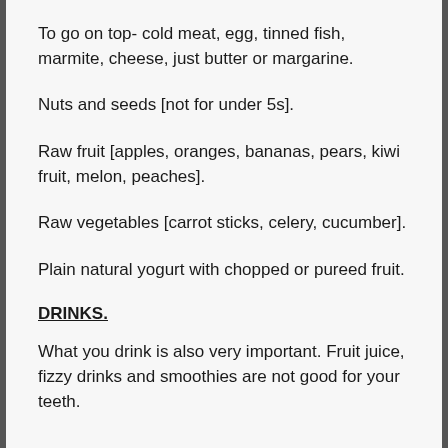To go on top- cold meat, egg, tinned fish, marmite, cheese, just butter or margarine.
Nuts and seeds [not for under 5s].
Raw fruit [apples, oranges, bananas, pears, kiwi fruit, melon, peaches].
Raw vegetables [carrot sticks, celery, cucumber].
Plain natural yogurt with chopped or pureed fruit.
DRINKS.
What you drink is also very important. Fruit juice, fizzy drinks and smoothies are not good for your teeth.